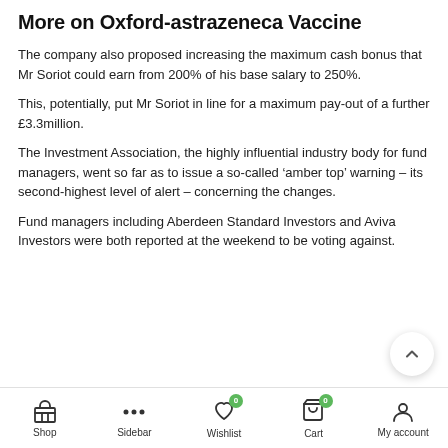More on Oxford-astrazeneca Vaccine
The company also proposed increasing the maximum cash bonus that Mr Soriot could earn from 200% of his base salary to 250%.
This, potentially, put Mr Soriot in line for a maximum pay-out of a further £3.3million.
The Investment Association, the highly influential industry body for fund managers, went so far as to issue a so-called ‘amber top’ warning – its second-highest level of alert – concerning the changes.
Fund managers including Aberdeen Standard Investors and Aviva Investors were both reported at the weekend to be voting against.
Shop | Sidebar | Wishlist (0) | Cart (0) | My account